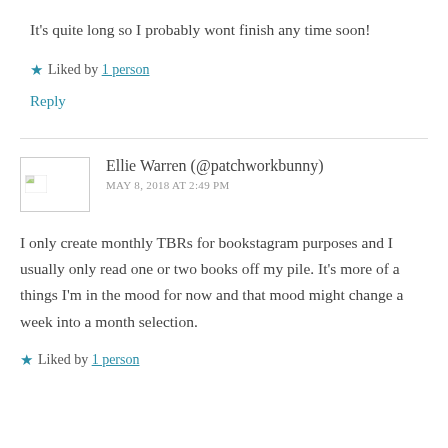It's quite long so I probably wont finish any time soon!
★ Liked by 1 person
Reply
Ellie Warren (@patchworkbunny)
MAY 8, 2018 AT 2:49 PM
I only create monthly TBRs for bookstagram purposes and I usually only read one or two books off my pile. It's more of a things I'm in the mood for now and that mood might change a week into a month selection.
★ Liked by 1 person